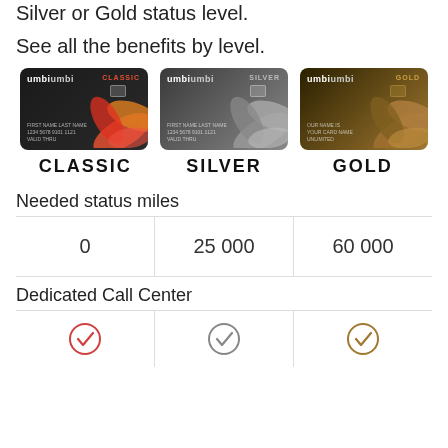Silver or Gold status level.
See all the benefits by level.
[Figure (illustration): Three loyalty cards shown side by side: CLASSIC (red/orange flower design), SILVER (grayscale flower design), and GOLD (gold/brown flower design), all branded with umbi umbi logo.]
| CLASSIC | SILVER | GOLD |
| --- | --- | --- |
| Needed status miles |  |  |
| 0 | 25 000 | 60 000 |
| Dedicated Call Center |  |  |
| ✓ | ✓ | ✓ |